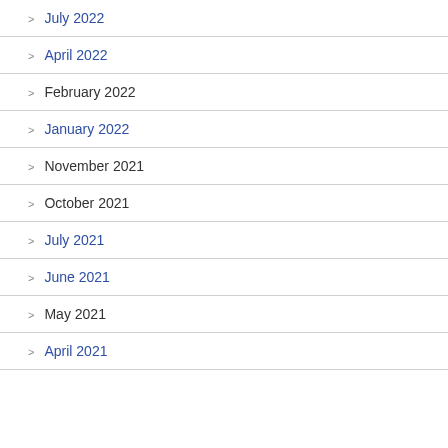July 2022
April 2022
February 2022
January 2022
November 2021
October 2021
July 2021
June 2021
May 2021
April 2021